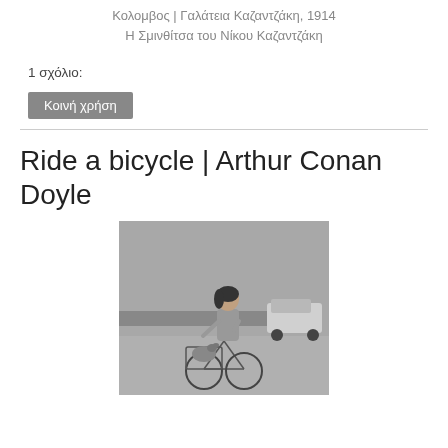Κολομβος | Γαλάτεια Καζαντζάκη, 1914
Η Σμινθίτσα του Νίκου Καζαντζάκη
1 σχόλιο:
Κοινή χρήση
Ride a bicycle | Arthur Conan Doyle
[Figure (photo): Black and white photograph of a young woman riding a bicycle with a small dog in the front basket. A car is visible in the background on the right.]